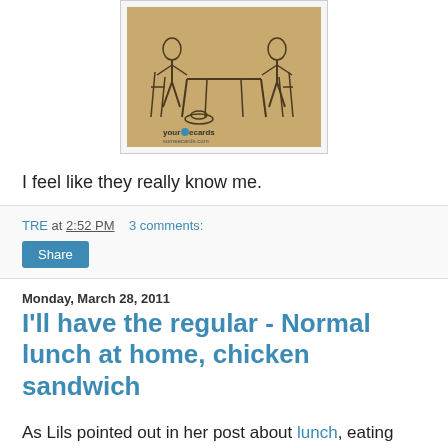[Figure (illustration): Vintage ecards image showing two figures sitting at a table, with 'your ecards someecards.com' watermark, on a tan/brown vintage illustration background]
I feel like they really know me.
TRE at 2:52 PM    3 comments:
Share
Monday, March 28, 2011
I'll have the regular - Normal lunch at home, chicken sandwich
As Lils pointed out in her post about lunch, eating lunch out everyday can be expensive, bad for your calorie count, and bad for your career if you have an "asshole boss". This is